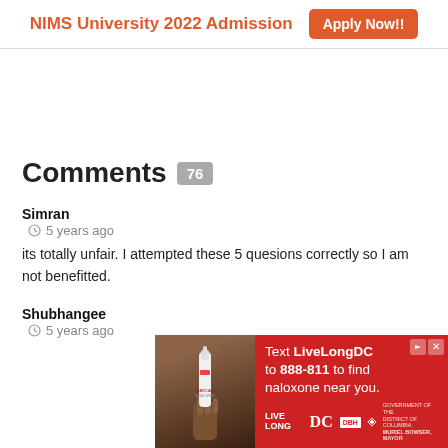NIMS University 2022 Admission   Apply Now!!
Comments 76
Simran  5 years ago
its totally unfair. I attempted these 5 quesions correctly so I am not benefitted.
Shubhangee  5 years ago
[Figure (photo): Advertisement banner: Text LiveLongDC to 888-811 to find naloxone near you. Shows a hand holding a nasal spray. LiveLong DC and DBH logos at bottom.]